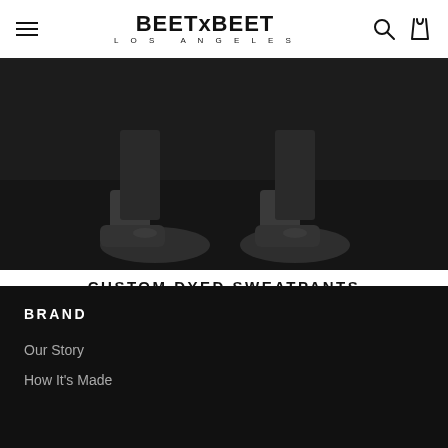BEETxBEET LOS ANGELES
[Figure (photo): Dark background photo showing lower legs and shoes of a person, cropped product/lifestyle image for custom dyed sweatpants]
CUSTOM DYED SWEATPANTS
$ 20.00  $ 70.00
BRAND
Our Story
How It's Made